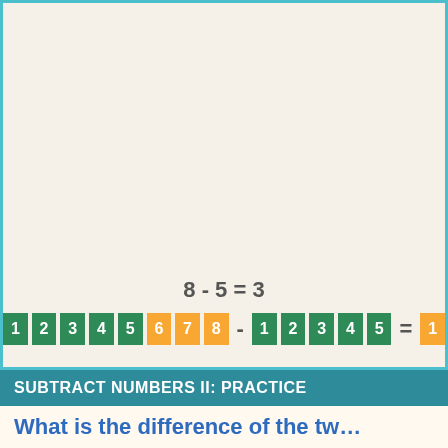| 8-5=3 | 8-6=2 | 8-7=1 | 8-8=0 | … |
| Nine |  |  |  |  |
| 9-0=9 | 9-1=8 | 9-2=7 | 9-3=6 | 9-… |
| 9-5=4 | 9-6=3 | 9-7=2 | 9-8=1 | 9-… |
| Ten |  |  |  |  |
| 10-0=10 | 10-1=9 | 10-2=8 | 10-3=7 | 10-… |
| 10-5=5 | 10-6=4 | 10-7=3 | 10-8=2 | 10-… |
| 10-10=0 |  |  |  |  |
8 - 5 = 3
[Figure (infographic): Number line showing 8 - 5 = 3. Green blocks 1-5, orange blocks 6-8, minus sign, green blocks 1-5, equals sign, orange result block showing 1 (partial)]
SUBTRACT NUMBERS II: PRACTICE
What is the difference of the tw…